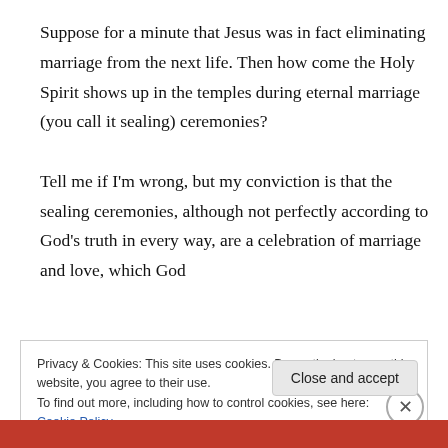Suppose for a minute that Jesus was in fact eliminating marriage from the next life. Then how come the Holy Spirit shows up in the temples during eternal marriage (you call it sealing) ceremonies?

Tell me if I'm wrong, but my conviction is that the sealing ceremonies, although not perfectly according to God's truth in every way, are a celebration of marriage and love, which God
Privacy & Cookies: This site uses cookies. By continuing to use this website, you agree to their use.
To find out more, including how to control cookies, see here: Cookie Policy
Close and accept